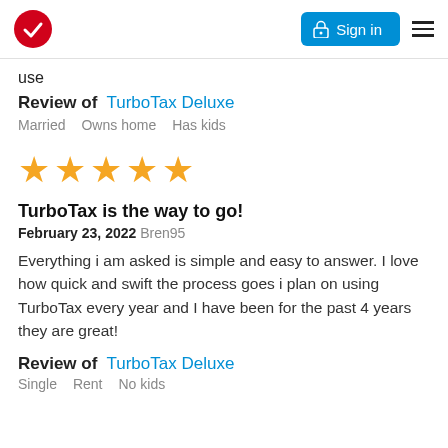Sign in
use
Review of  TurboTax Deluxe
Married    Owns home    Has kids
[Figure (infographic): Five gold stars rating]
TurboTax is the way to go!
February 23, 2022 Bren95
Everything i am asked is simple and easy to answer. I love how quick and swift the process goes i plan on using TurboTax every year and I have been for the past 4 years they are great!
Review of  TurboTax Deluxe
Single    Rent    No kids